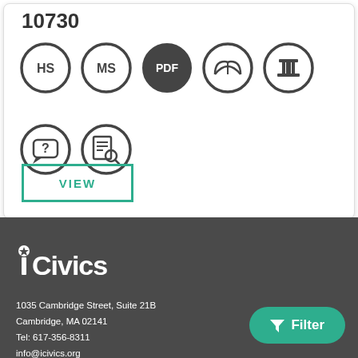10730
[Figure (illustration): Row of circular icons: HS (high school), MS (middle school), PDF (filled dark circle), open book, and column/building icon. Second row: speech bubble with question mark, and document search icon.]
VIEW
[Figure (logo): iCivics logo in white on dark background]
1035 Cambridge Street, Suite 21B
Cambridge, MA 02141
Tel: 617-356-8311
info@icivics.org
Filter